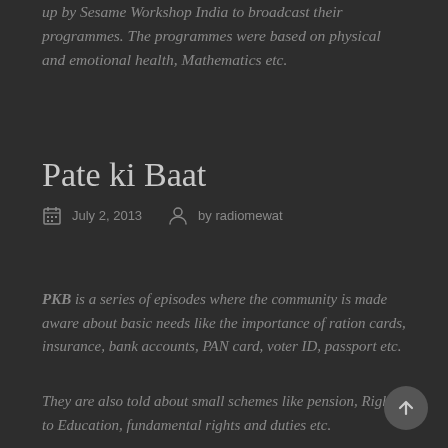up by Sesame Workshop India to broadcast their programmes. The programmes were based on physical and emotional health, Mathematics etc.
Pate ki Baat
July 2, 2013   by radiomewat
PKB is a series of episodes where the community is made aware about basic needs like the importance of ration cards, insurance, bank accounts, PAN card, voter ID, passport etc.
They are also told about small schemes like pension, Right to Education, fundamental rights and duties etc.